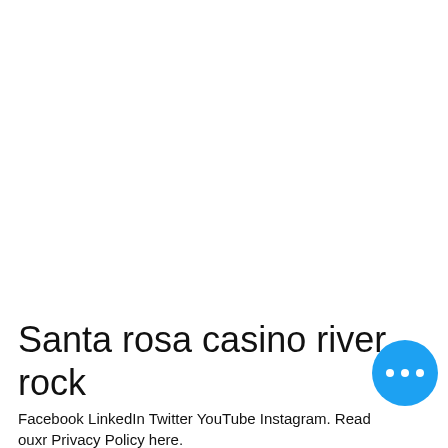Santa rosa casino river rock
Facebook LinkedIn Twitter YouTube Instagram. Read ouxr Privacy Policy here.
[Figure (other): Blue circular button with three white dots (ellipsis/more options icon)]